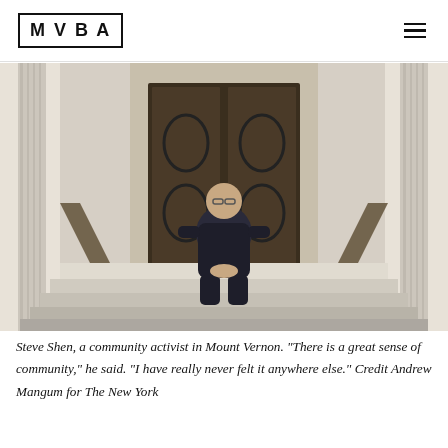MVBA
[Figure (photo): A man (Steve Shen) sitting on steps in front of a building with ornate iron doors and classical columns, wearing a dark jacket.]
Steve Shen, a community activist in Mount Vernon. "There is a great sense of community," he said. "I have really never felt it anywhere else." Credit Andrew Mangum for The New York